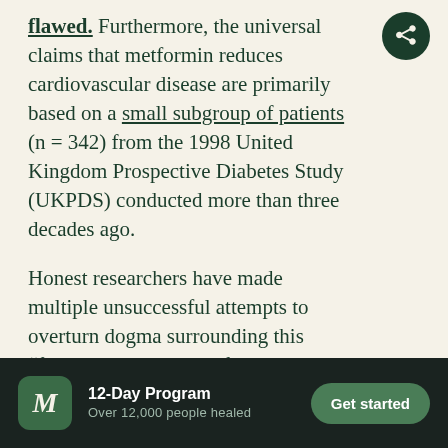flawed. Furthermore, the universal claims that metformin reduces cardiovascular disease are primarily based on a small subgroup of patients (n = 342) from the 1998 United Kingdom Prospective Diabetes Study (UKPDS) conducted more than three decades ago.

Honest researchers have made multiple unsuccessful attempts to overturn dogma surrounding this “first-line medication” for diabetes. In 2012 researchers published an extensive review in the highly respected
[Figure (other): Dark green circular share/export button icon in top-right corner]
12-Day Program
Over 12,000 people healed
Get started